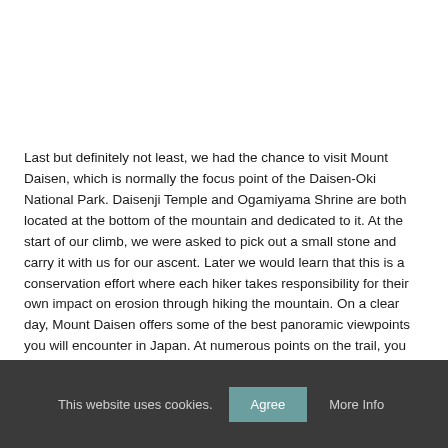Last but definitely not least, we had the chance to visit Mount Daisen, which is normally the focus point of the Daisen-Oki National Park. Daisenji Temple and Ogamiyama Shrine are both located at the bottom of the mountain and dedicated to it. At the start of our climb, we were asked to pick out a small stone and carry it with us for our ascent. Later we would learn that this is a conservation effort where each hiker takes responsibility for their own impact on erosion through hiking the mountain. On a clear day, Mount Daisen offers some of the best panoramic viewpoints you will encounter in Japan. At numerous points on the trail, you can look back and see the city of Yonago and the coastline of the Sea of Japan.
This website uses cookies.   Agree   More Info